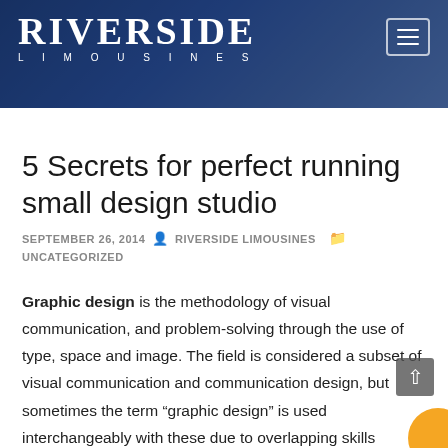RIVERSIDE LIMOUSINES
5 Secrets for perfect running small design studio
SEPTEMBER 26, 2014  RIVERSIDE LIMOUSINES  UNCATEGORIZED
Graphic design is the methodology of visual communication, and problem-solving through the use of type, space and image. The field is considered a subset of visual communication and communication design, but sometimes the term “graphic design” is used interchangeably with these due to overlapping skills involved. Graphic designers use various methods to create and combine